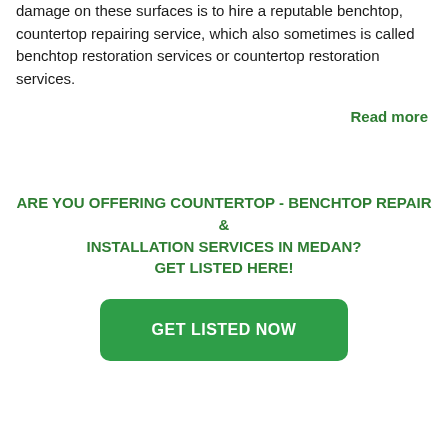damage on these surfaces is to hire a reputable benchtop, countertop repairing service, which also sometimes is called benchtop restoration services or countertop restoration services.
Read more
ARE YOU OFFERING COUNTERTOP - BENCHTOP REPAIR & INSTALLATION SERVICES IN MEDAN? GET LISTED HERE!
GET LISTED NOW